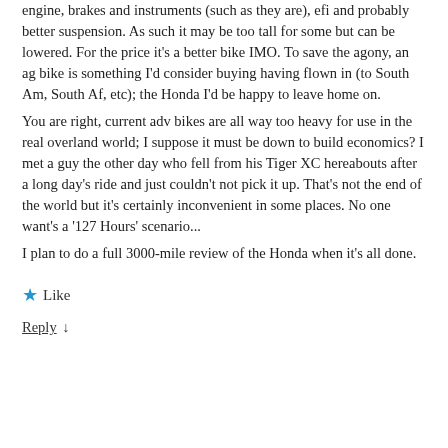engine, brakes and instruments (such as they are), efi and probably better suspension. As such it may be too tall for some but can be lowered. For the price it's a better bike IMO. To save the agony, an ag bike is something I'd consider buying having flown in (to South Am, South Af, etc); the Honda I'd be happy to leave home on.
You are right, current adv bikes are all way too heavy for use in the real overland world; I suppose it must be down to build economics? I met a guy the other day who fell from his Tiger XC hereabouts after a long day's ride and just couldn't not pick it up. That's not the end of the world but it's certainly inconvenient in some places. No one want's a '127 Hours' scenario...
I plan to do a full 3000-mile review of the Honda when it's all done.
★ Like
Reply ↓